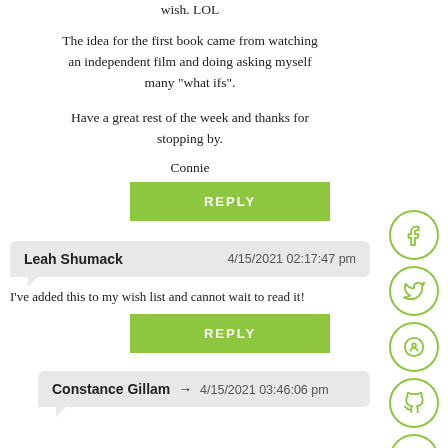wish. LOL
The idea for the first book came from watching an independent film and doing asking myself many "what ifs".
Have a great rest of the week and thanks for stopping by.
Connie
REPLY
Leah Shumack   4/15/2021 02:17:47 pm
I've added this to my wish list and cannot wait to read it!
REPLY
Constance Gillam → 4/15/2021 03:46:06 pm